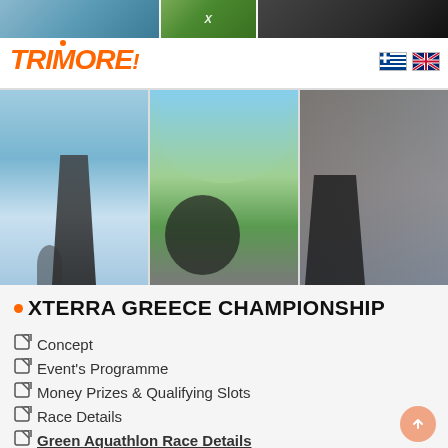[Figure (photo): Three sport action photos in a top strip: outdoor/nature scenes]
[Figure (logo): TRIMORE logo in orange italic bold text with orange dot accent]
[Figure (photo): Three triathlon action photos: swimmer exiting water, mountain biker riding, runner or athlete close-up]
XTERRA GREECE CHAMPIONSHIP
Concept
Event's Programme
Money Prizes & Qualifying Slots
Race Details
Green Aquathlon Race Details